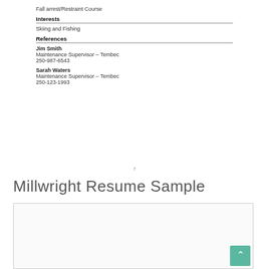Fall arrest/Restraint Course
Interests
Skiing and Fishing
References
Jim Smith
Maintenance Supervisor – Tembec
250-987-6543
Sarah Waters
Maintenance Supervisor – Tembec
250-123-1993
7
Millwright Resume Sample
[Figure (screenshot): Resume template box showing 'Title of the CV' with example text and fields: Name, Address, Contact No., E-mail]